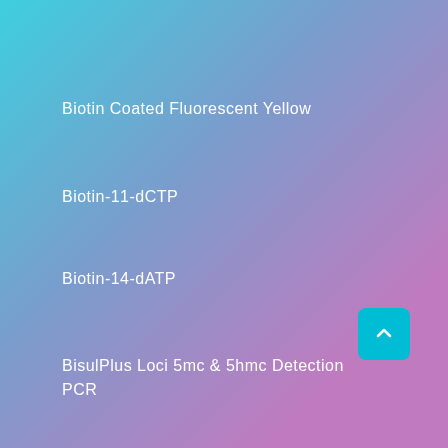Biotin Coated Fluorescent Yellow
Biotin-11-dCTP
Biotin-14-dATP
BisulPlus Loci 5mc & 5hmc Detection PCR
Bortezomib, free base, 100mg
Bottles 250 ML PP-RB with screw cap